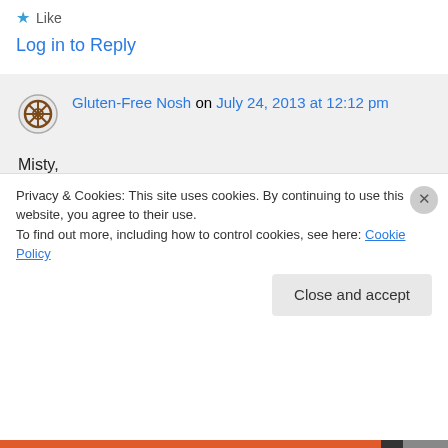★ Like
Log in to Reply
Gluten-Free Nosh on July 24, 2013 at 12:12 pm
Misty,

Unfortunately, I have not mastered a GF challah yet. It is a goal of mine, though I haven't tried lately. It's hard to find a batter that is braidable. But I am sure there is a
Privacy & Cookies: This site uses cookies. By continuing to use this website, you agree to their use.
To find out more, including how to control cookies, see here: Cookie Policy
Close and accept